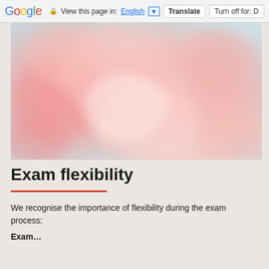Google  View this page in: English [▼]  Translate  Turn off for: D
[Figure (photo): Pink/salmon colored smoke or ink dispersing in water against a light background, close-up abstract photograph]
Exam flexibility
We recognise the importance of flexibility during the exam process:
Exam…